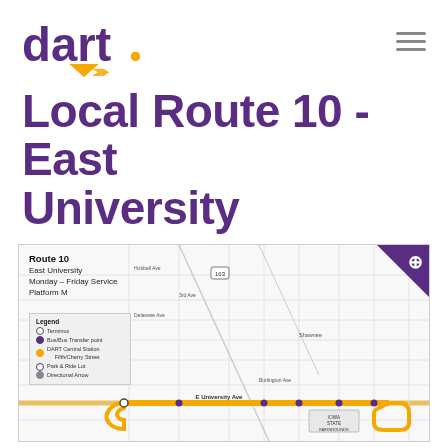[Figure (logo): DART transit agency logo with purple text and orange arrow accent]
Local Route 10 - East University
[Figure (map): Route 10 East University bus route map showing Monday-Friday Service, Platform M. Map shows E University Ave highlighted in orange/gold with bus route path. Includes legend with terminus, bus/bus transfer point, DART Central Station, Park and Ride Lot, and Directional Arrow symbols. Map shows street grid including Hubbell Ave, 3rd Ave, Delaware Ave, E University Ave and surrounding streets in Des Moines area.]